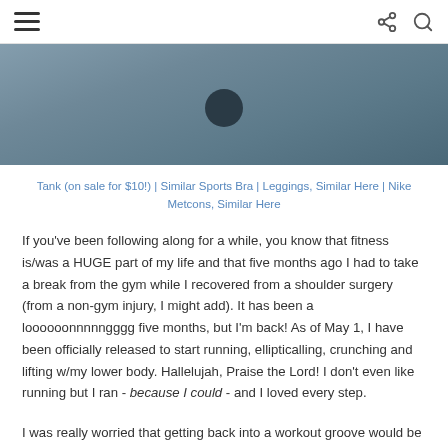≡ (share) (search)
[Figure (photo): Partial photo of a person in workout gear against a dark background, cropped at top of page]
Tank (on sale for $10!) | Similar Sports Bra | Leggings, Similar Here | Nike Metcons, Similar Here
If you've been following along for a while, you know that fitness is/was a HUGE part of my life and that five months ago I had to take a break from the gym while I recovered from a shoulder surgery (from a non-gym injury, I might add). It has been a loooooonnnnngggg five months, but I'm back! As of May 1, I have been officially released to start running, ellipticalling, crunching and lifting w/my lower body. Hallelujah, Praise the Lord! I don't even like running but I ran - because I could - and I loved every step.
I was really worried that getting back into a workout groove would be difficult. Would I still enjoy it? Would it hurt? Would I expect too much from myself and get frustrated? Would I